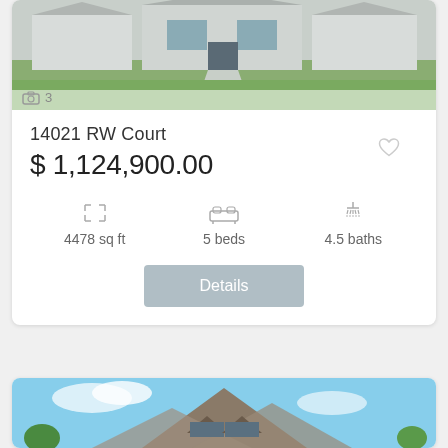[Figure (photo): Exterior rendering of a modern single-story home with gray facade, large windows, and green lawn]
📷 3
14021 RW Court
$ 1,124,900.00
4478 sq ft
5 beds
4.5 baths
Details
[Figure (photo): Exterior rendering of a house with steep brown/gray shingled roof and blue sky background]